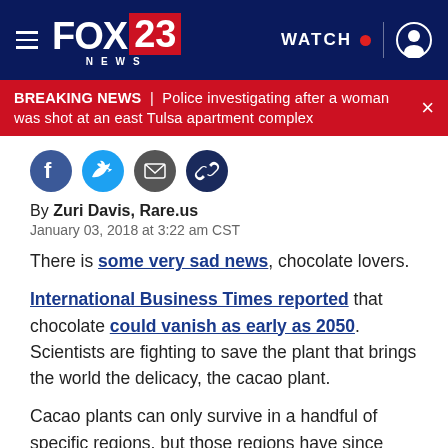FOX 23 NEWS — navigation bar with WATCH and user icon
BREAKING NEWS | Police investigating after a woman was shot at an east Tulsa apartment complex
[Figure (illustration): Social media share icons: Facebook, Twitter, Email, Link]
By Zuri Davis, Rare.us
January 03, 2018 at 3:22 am CST
There is some very sad news, chocolate lovers.
International Business Times reported that chocolate could vanish as early as 2050. Scientists are fighting to save the plant that brings the world the delicacy, the cacao plant.
Cacao plants can only survive in a handful of specific regions, but those regions have since become